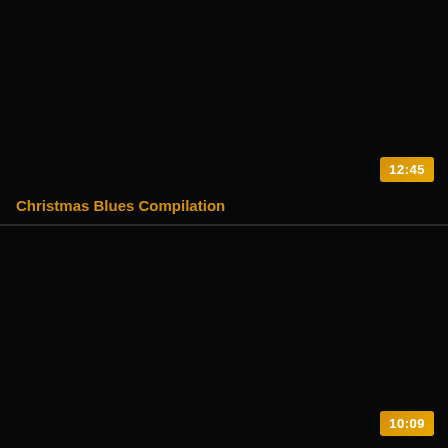[Figure (screenshot): Video thumbnail card 1 with black background, duration badge showing 12:45, and title 'Christmas Blues Compilation' in orange text]
Christmas Blues Compilation
12:45
[Figure (screenshot): Video thumbnail card 2 with black background and duration badge showing 10:09]
10:09